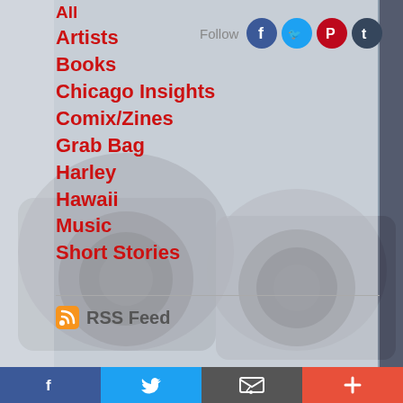[Figure (screenshot): Background photo of vintage cameras on a table, with a semi-transparent white overlay panel on the left side]
All
Artists
Books
Chicago Insights
Comix/Zines
Grab Bag
Harley
Hawaii
Music
Short Stories
Follow
RSS Feed
Facebook Twitter Email More